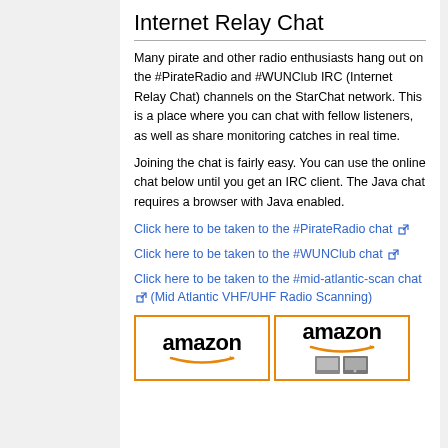Internet Relay Chat
Many pirate and other radio enthusiasts hang out on the #PirateRadio and #WUNClub IRC (Internet Relay Chat) channels on the StarChat network. This is a place where you can chat with fellow listeners, as well as share monitoring catches in real time.
Joining the chat is fairly easy. You can use the online chat below until you get an IRC client. The Java chat requires a browser with Java enabled.
Click here to be taken to the #PirateRadio chat [external link]
Click here to be taken to the #WUNClub chat [external link]
Click here to be taken to the #mid-atlantic-scan chat [external link] (Mid Atlantic VHF/UHF Radio Scanning)
[Figure (other): Two Amazon advertisement boxes side by side with Amazon logo and smile graphic, one showing a device image]